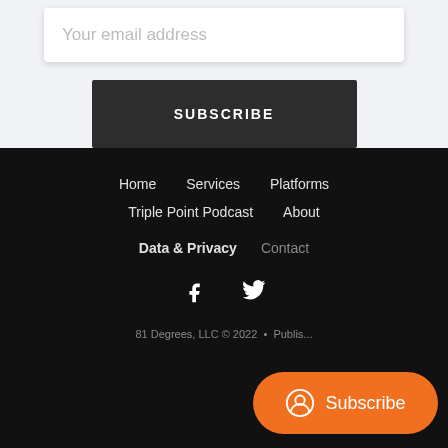Your email address
SUBSCRIBE
Home   Services   Platforms   Triple Point Podcast   About   Data & Privacy   Contact
[Figure (illustration): Facebook and Twitter social media icons in white on dark background]
81 Degrees, LLC © 2022  •  Publis...
Subscribe